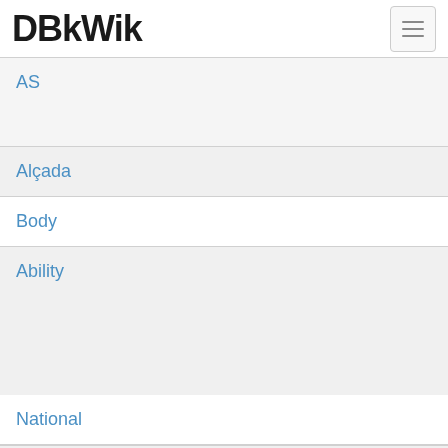DBkWik
AS
Alçada
Body
Ability
National
Typ